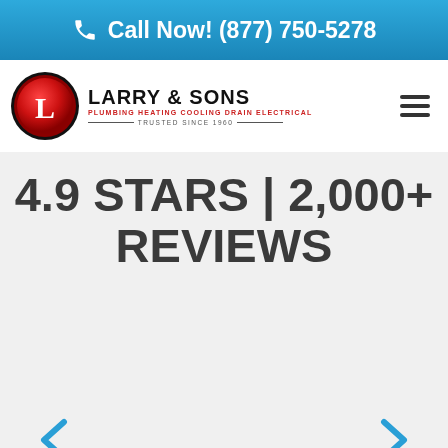Call Now! (877) 750-5278
[Figure (logo): Larry & Sons logo with circular red L emblem, company name, tagline PLUMBING HEATING COOLING DRAIN ELECTRICAL, and TRUSTED SINCE 1960]
4.9 STARS | 2,000+ REVIEWS